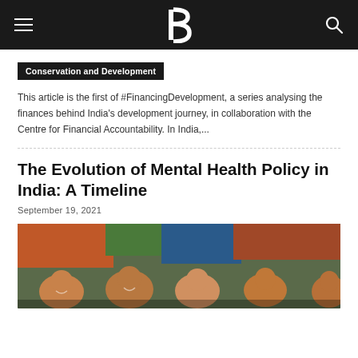Navigation bar with hamburger menu, logo B, and search icon
Conservation and Development
This article is the first of #FinancingDevelopment, a series analysing the finances behind India's development journey, in collaboration with the Centre for Financial Accountability. In India,...
The Evolution of Mental Health Policy in India: A Timeline
September 19, 2021
[Figure (photo): Group of young women smiling, photographed on a busy street in India]